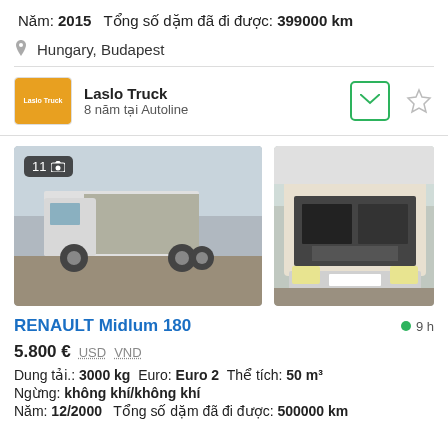Năm: 2015   Tổng số dặm đã đi được: 399000 km
Hungary, Budapest
Laslo Truck
8 năm tại Autoline
[Figure (photo): Side view of a white Renault Midlum truck with tarpaulin cargo area, parked on gravel]
[Figure (photo): Front engine bay view of a Renault Midlum truck with hood open, showing engine components]
RENAULT Midlum 180
9 h
5.800 €  USD  VND
Dung tải.: 3000 kg   Euro: Euro 2   Thể tích: 50 m³
Ngừng: không khí/không khí
Năm: 12/2000   Tổng số dặm đã đi được: 500000 km